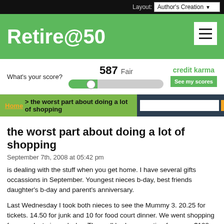Layout: Author's Creation
Retire@50
[Figure (screenshot): Credit Karma credit score widget showing score 587 Fair with a toggle slider bar and 'See my scores' button]
Home > the worst part about doing a lot of shopping
the worst part about doing a lot of shopping
September 7th, 2008 at 05:42 pm
is dealing with the stuff when you get home. I have several gifts occassions in September. Youngest nieces b-day, best friends daughter's b-day and parent's anniversary.
Last Wednesday I took both nieces to see the Mummy 3. 20.25 for tickets. 14.50 for junk and 10 for food court dinner. We went shopping for youndest nieces b-day. The mall had a promotion for every $100 you put on your Discover card you get a $10 Discover gift card. I spent $115 on her presents, dinner and a book for a xmas present. I had a 20% coupon and a $5 off coupon on the books.